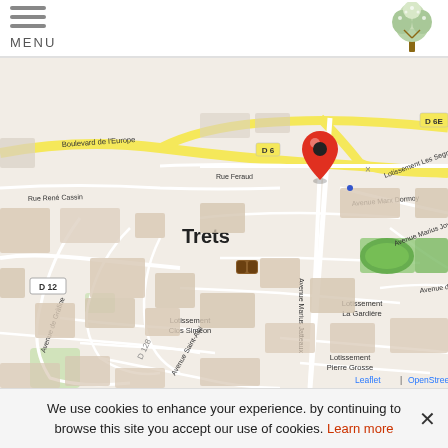MENU
[Figure (map): OpenStreetMap map of Trets, France showing streets including Boulevard de l'Europe, D6, D6E, D12, Rue Feraud, Rue René Cassin, Avenue Marius Jatteaux, Avenue Marx Dormoy, Avenue Marius Joy, Avenue de Grisolle, Avenue de Gràfine, Avenue Saint-Aloi. Neighborhoods: Lotissement Les Segners, Lotissement La Gardière, Lotissement Clos Siméon, Lotissement Pierre Grosse. A red map pin marker is placed near the center of the map over Trets.]
We use cookies to enhance your experience. by continuing to browse this site you accept our use of cookies. Learn more